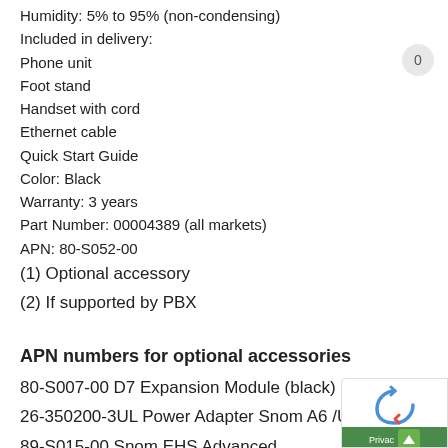Humidity: 5% to 95% (non-condensing)
Included in delivery:
Phone unit
Foot stand
Handset with cord
Ethernet cable
Quick Start Guide
Color: Black
Warranty: 3 years
Part Number: 00004389 (all markets)
APN: 80-S052-00
(1) Optional accessory
(2) If supported by PBX
APN numbers for optional accessories
80-S007-00 D7 Expansion Module (black)
26-350200-3UL Power Adapter Snom A6 /US clip
89-S015-00 Snom EHS Advanced
00-S013-00 Wallmount plate for 7-series